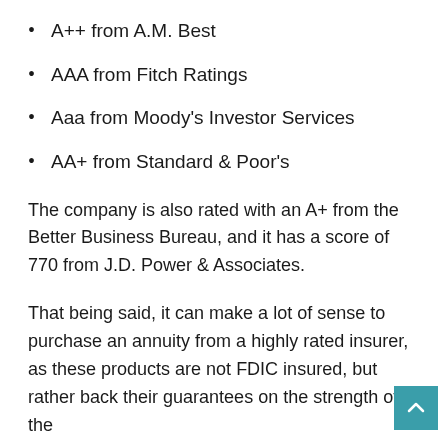A++ from A.M. Best
AAA from Fitch Ratings
Aaa from Moody’s Investor Services
AA+ from Standard & Poor’s
The company is also rated with an A+ from the Better Business Bureau, and it has a score of 770 from J.D. Power & Associates.
That being said, it can make a lot of sense to purchase an annuity from a highly rated insurer, as these products are not FDIC insured, but rather back their guarantees on the strength of the